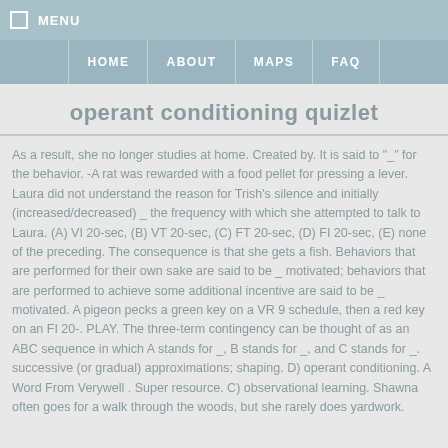☐ MENU
HOME   ABOUT   MAPS   FAQ
operant conditioning quizlet
As a result, she no longer studies at home. Created by. It is said to "_" for the behavior. -A rat was rewarded with a food pellet for pressing a lever. Laura did not understand the reason for Trish's silence and initially (increased/decreased) _ the frequency with which she attempted to talk to Laura. (A) VI 20-sec, (B) VT 20-sec, (C) FT 20-sec, (D) FI 20-sec, (E) none of the preceding. The consequence is that she gets a fish. Behaviors that are performed for their own sake are said to be _ motivated; behaviors that are performed to achieve some additional incentive are said to be _ motivated. A pigeon pecks a green key on a VR 9 schedule, then a red key on an FI 20-. PLAY. The three-term contingency can be thought of as an ABC sequence in which A stands for _, B stands for _, and C stands for _. successive (or gradual) approximations; shaping. D) operant conditioning. A Word From Verywell . Super resource. C) observational learning. Shawna often goes for a walk through the woods, but she rarely does yardwork.